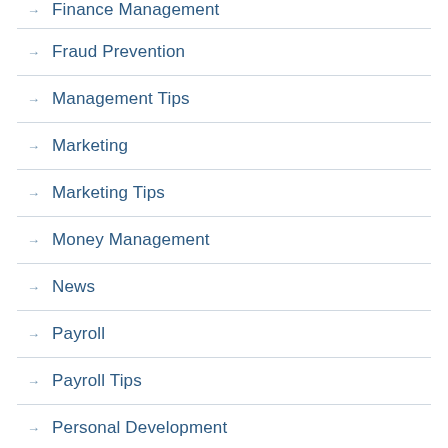Finance Management
Fraud Prevention
Management Tips
Marketing
Marketing Tips
Money Management
News
Payroll
Payroll Tips
Personal Development
Productivity